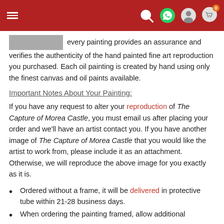Navigation bar with hamburger menu, search, WhatsApp, profile, and cart (0) icons
every painting provides an assurance and verifies the authenticity of the hand painted fine art reproduction you purchased. Each oil painting is created by hand using only the finest canvas and oil paints available.
Important Notes About Your Painting:
If you have any request to alter your reproduction of The Capture of Morea Castle, you must email us after placing your order and we'll have an artist contact you. If you have another image of The Capture of Morea Castle that you would like the artist to work from, please include it as an attachment. Otherwise, we will reproduce the above image for you exactly as it is.
Ordered without a frame, it will be delivered in protective tube within 21-28 business days.
When ordering the painting framed, allow additional...